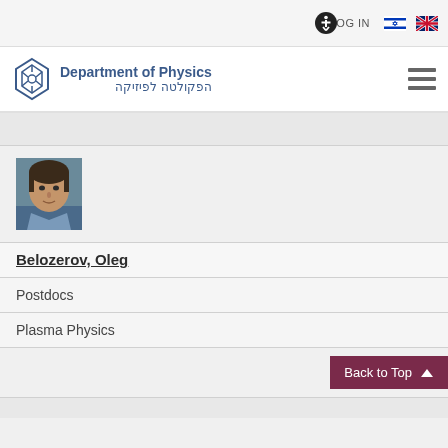LOG IN
[Figure (logo): Department of Physics logo with Technion emblem, text: Department of Physics / הפקולטה לפיזיקה]
[Figure (photo): Headshot photo of Oleg Belozerov, a man with dark hair]
Belozerov, Oleg
Postdocs
Plasma Physics